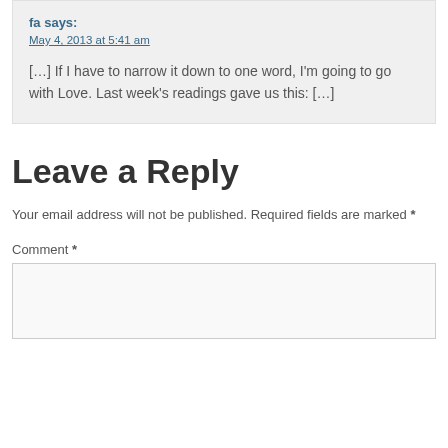fa says:
May 4, 2013 at 5:41 am
[…] If I have to narrow it down to one word, I'm going to go with Love. Last week's readings gave us this: […]
Leave a Reply
Your email address will not be published. Required fields are marked *
Comment *